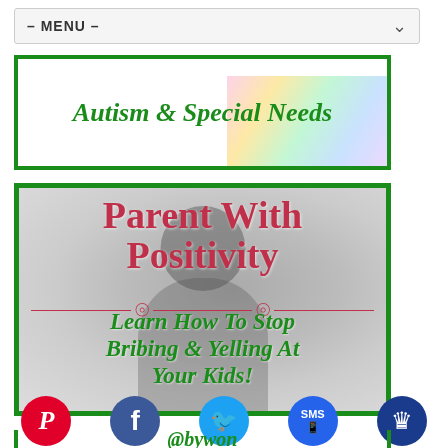– MENU –
[Figure (illustration): Green-bordered banner with text 'Autism & Special Needs' in green italic script, with colorful blocks visible in background]
[Figure (illustration): Green-bordered poster card with title 'Parent With Positivity' in red/crimson bold font, decorative red divider with ornaments, subtitle 'Learn How To Stop Bribing & Yelling At Your Kids!' in green italic bold, background shows silhouette of a woman]
[Figure (illustration): Partial bottom banner in green border, social sharing icons row: Pinterest (red), Facebook (dark blue), Twitter (light blue), SMS (blue), Crown (dark navy)]